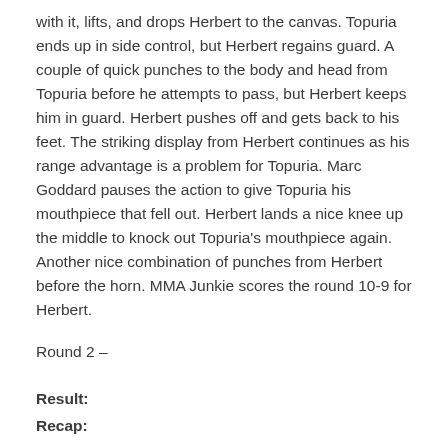with it, lifts, and drops Herbert to the canvas. Topuria ends up in side control, but Herbert regains guard. A couple of quick punches to the body and head from Topuria before he attempts to pass, but Herbert keeps him in guard. Herbert pushes off and gets back to his feet. The striking display from Herbert continues as his range advantage is a problem for Topuria. Marc Goddard pauses the action to give Topuria his mouthpiece that fell out. Herbert lands a nice knee up the middle to knock out Topuria's mouthpiece again. Another nice combination of punches from Herbert before the horn. MMA Junkie scores the round 10-9 for Herbert.
Round 2 –
Result:
Recap: